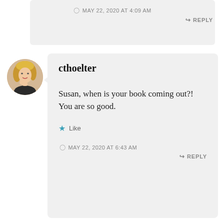MAY 22, 2020 AT 4:09 AM
REPLY
[Figure (photo): Circular avatar photo of a blonde woman with hand near chin, wearing a dark top against a light background.]
cthoelter
Susan, when is your book coming out?! You are so good.
Like
MAY 22, 2020 AT 6:43 AM
REPLY